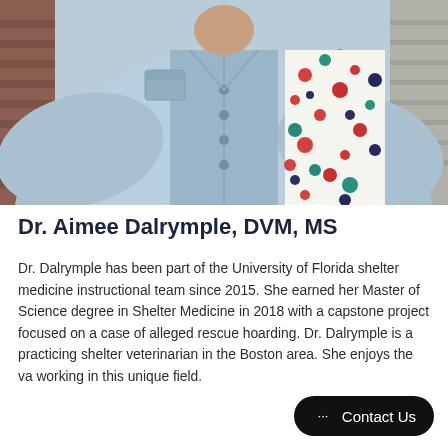[Figure (photo): Photo of Dr. Aimee Dalrymple wearing a light blue denim jacket over a colorful polka dot blouse, photographed against a brick wall background. The image is cropped to show the torso/chest area.]
Dr. Aimee Dalrymple, DVM, MS
Dr. Dalrymple has been part of the University of Florida shelter medicine instructional team since 2015. She earned her Master of Science degree in Shelter Medicine in 2018 with a capstone project focused on a case of alleged rescue hoarding. Dr. Dalrymple is a practicing shelter veterinarian in the Boston area. She enjoys the va... working in this unique field.